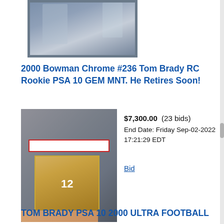[Figure (photo): Partial view of a sports trading card in a protective case, cropped at top]
2000 Bowman Chrome #236 Tom Brady RC Rookie PSA 10 GEM MNT. He Retires Soon!
[Figure (photo): PSA graded Tom Brady rookie card #12 held in hand, with grading label visible]
$7,300.00 (23 bids)
End Date: Friday Sep-02-2022 17:21:29 EDT
Bid
TOM BRADY PSA 10 2000 ULTRA FOOTBALL